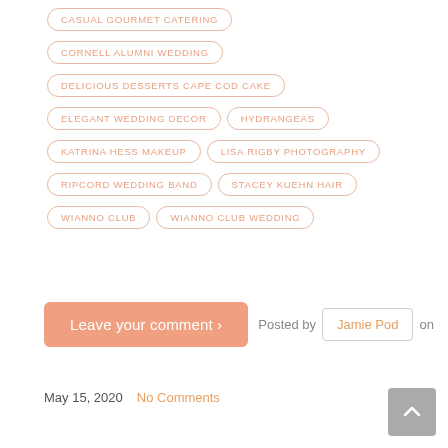CASUAL GOURMET CATERING
CORNELL ALUMNI WEDDING
DELICIOUS DESSERTS CAPE COD CAKE
ELEGANT WEDDING DECOR
HYDRANGEAS
KATRINA HESS MAKEUP
LISA RIGBY PHOTOGRAPHY
RIPCORD WEDDING BAND
STACEY KUEHN HAIR
WIANNO CLUB
WIANNO CLUB WEDDING
Leave your comment >
Posted by Jamie Pod on
May 15, 2020    No Comments